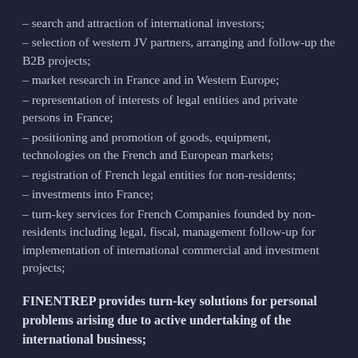– search and attraction of international investors;
– selection of western JV partners, arranging and follow-up the B2B projects;
– market research in France and in Western Europe;
– representation of interests of legal entities and private persons in France;
– positioning and promotion of goods, equipment, technologies on the French and European markets;
– registration of French legal entities for non-residents;
– investments into France;
– turn-key services for French Companies founded by non-residents including legal, fiscal, management follow-up for implementation of international commercial and investment projects;
FINENTREP provides turn-key solutions for personal problems arising due to active undertaking of the international business;